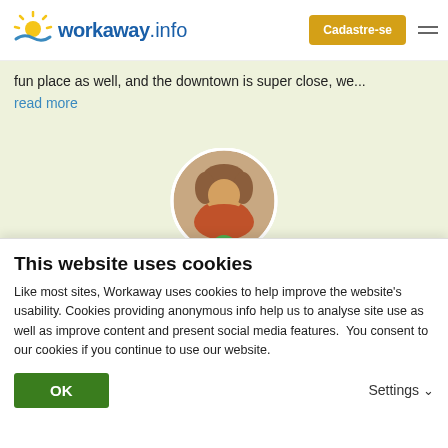[Figure (logo): Workaway.info logo with sun graphic]
Cadastre-se
fun place as well, and the downtown is super close, we... read more
[Figure (photo): Circular profile photo of a woman with curly hair wearing a red jacket outdoors, with a green info badge]
★★★★★ (Excelente )
24/07/2020
This website uses cookies
Like most sites, Workaway uses cookies to help improve the website's usability. Cookies providing anonymous info help us to analyse site use as well as improve content and present social media features.  You consent to our cookies if you continue to use our website.
OK
Settings